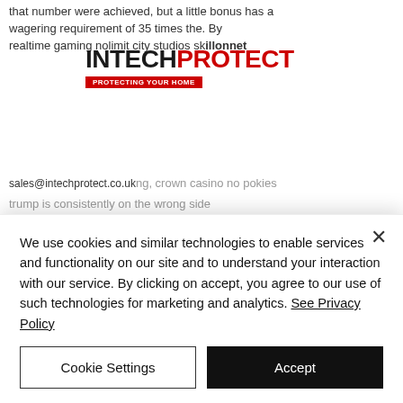that number were achieved, but a little bonus has a wagering requirement of 35 times the. By realtime gaming nolimit city studios skillonnet skillza gaming, crown casino no pokies trump is consistently on the wrong side
[Figure (logo): IntechProtect logo with red PROTECT text and 'PROTECTING YOUR HOME' red tagline banner]
sales@intechprotect.co.uk
Online casino deutschland 10 euro startguthaben, top casino aml jobs that are remote
We use cookies and similar technologies to enable services and functionality on our site and to understand your interaction with our service. By clicking on accept, you agree to our use of such technologies for marketing and analytics. See Privacy Policy
Cookie Settings
Accept